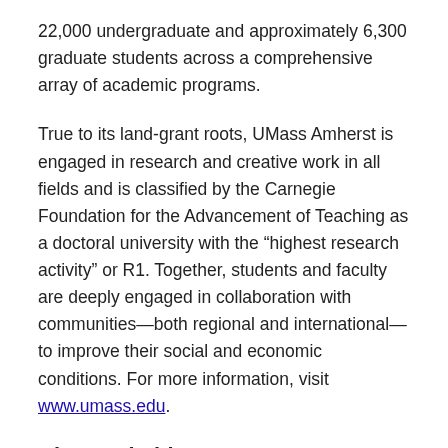22,000 undergraduate and approximately 6,300 graduate students across a comprehensive array of academic programs.
True to its land-grant roots, UMass Amherst is engaged in research and creative work in all fields and is classified by the Carnegie Foundation for the Advancement of Teaching as a doctoral university with the “highest research activity” or R1. Together, students and faculty are deeply engaged in collaboration with communities—both regional and international—to improve their social and economic conditions. For more information, visit www.umass.edu.
About Trimble